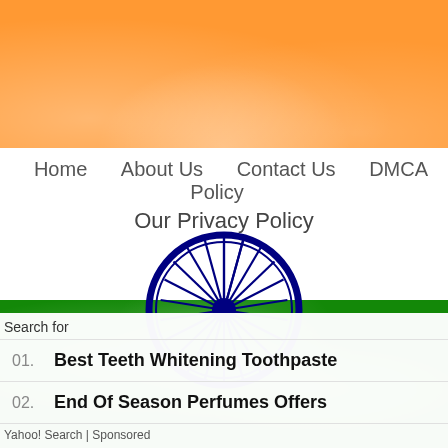[Figure (illustration): Indian national flag with saffron top band, white middle band, and green bottom band, with grunge/distressed texture overlay]
Home   About Us   Contact Us   DMCA Policy
Our Privacy Policy
[Figure (illustration): Ashoka Chakra (24-spoke navy blue wheel) from the Indian national flag, centered on the page]
Search for
01.  Best Teeth Whitening Toothpaste
02.  End Of Season Perfumes Offers
Yahoo! Search | Sponsored